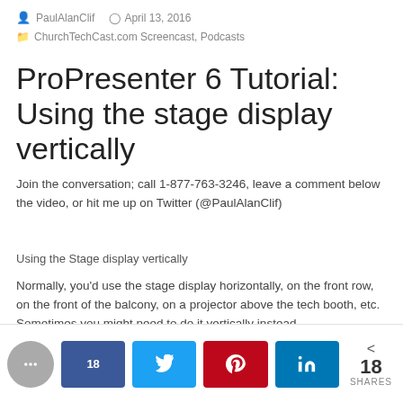PaulAlanClif  April 13, 2016
ChurchTechCast.com Screencast, Podcasts
ProPresenter 6 Tutorial: Using the stage display vertically
Join the conversation; call 1-877-763-3246, leave a comment below the video, or hit me up on Twitter (@PaulAlanClif)
Using the Stage display vertically
Normally, you'd use the stage display horizontally, on the front row, on the front of the balcony, on a projector above the tech booth, etc. Sometimes you might need to do it vertically instead.
[Figure (screenshot): Social sharing bar with chat bubble icon, Facebook share button showing 18, Twitter button, Pinterest button, LinkedIn button, and share count of 18 SHARES]